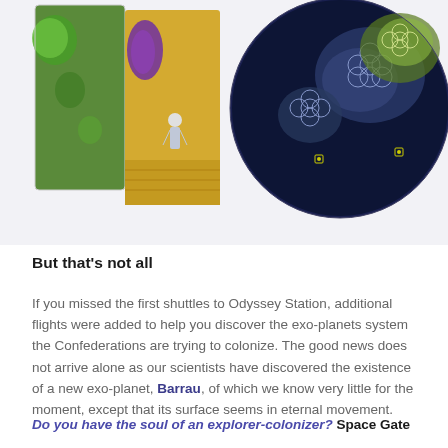[Figure (photo): Product photo of a board game box and game components including planet boards and cards with colorful space artwork featuring planets, aliens, and sci-fi imagery]
But that's not all
If you missed the first shuttles to Odyssey Station, additional flights were added to help you discover the exo-planets system the Confederations are trying to colonize. The good news does not arrive alone as our scientists have discovered the existence of a new exo-planet, Barrau, of which we know very little for the moment, except that its surface seems in eternal movement.
Do you have the soul of an explorer-colonizer? Space Gate